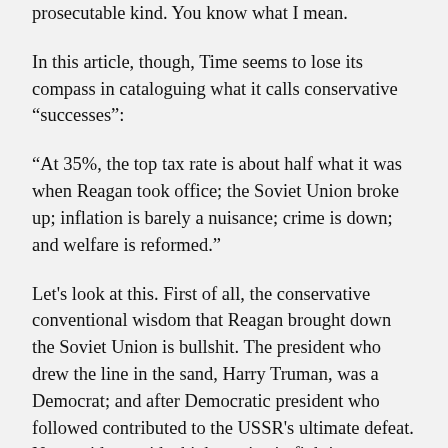prosecutable kind. You know what I mean.
In this article, though, Time seems to lose its compass in cataloguing what it calls conservative “successes”:
“At 35%, the top tax rate is about half what it was when Reagan took office; the Soviet Union broke up; inflation is barely a nuisance; crime is down; and welfare is reformed.”
Let's look at this. First of all, the conservative conventional wisdom that Reagan brought down the Soviet Union is bullshit. The president who drew the line in the sand, Harry Truman, was a Democrat; and after Democratic president who followed contributed to the USSR's ultimate defeat. No president paid a higher price in fighting communism than LBJ, a Democrat, who tried to draw a line in the sand against the